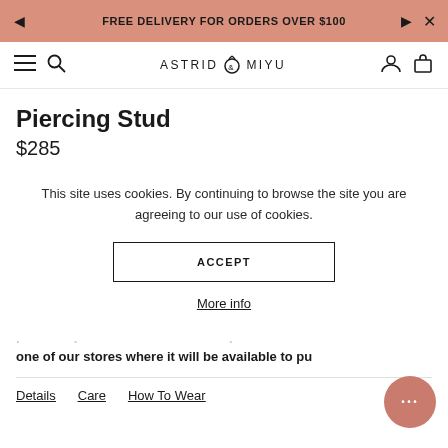FREE DELIVERY FOR ORDERS OVER $100
[Figure (logo): Astrid & Miyu logo with navigation icons (hamburger, search, user, bag)]
Piercing Stud
$285
This site uses cookies. By continuing to browse the site you are agreeing to our use of cookies.
ACCEPT
More info
one of our stores where it will be available to pu
Details   Care   How To Wear